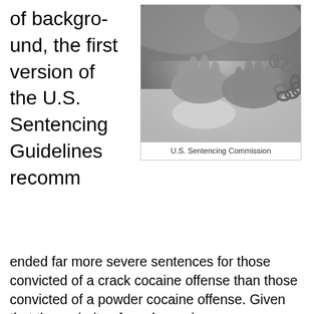of background, the first version of the U.S. Sentencing Guidelines recomm
[Figure (photo): Black and white photo of hands in chains resting on a surface, symbolizing imprisonment or restraint.]
U.S. Sentencing Commission
ended far more severe sentences for those convicted of a crack cocaine offense than those convicted of a powder cocaine offense. Given that the majority of crack cocaine users were black, and the majority of powder cocaine users were white (even though the rate of cocaine use among white and black Americans was the same), the Guidelines resulted in unfairly severe criminal sentences